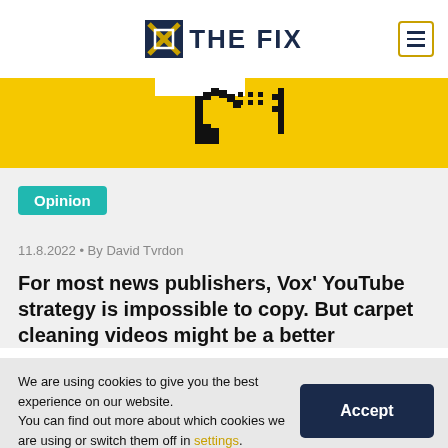THE FIX
[Figure (illustration): Yellow banner with a pixelated/retro graphic of a hand cursor icon with quotation marks, black on yellow background]
Opinion
11.8.2022 • By David Tvrdon
For most news publishers, Vox' YouTube strategy is impossible to copy. But carpet cleaning videos might be a better
We are using cookies to give you the best experience on our website.
You can find out more about which cookies we are using or switch them off in settings.